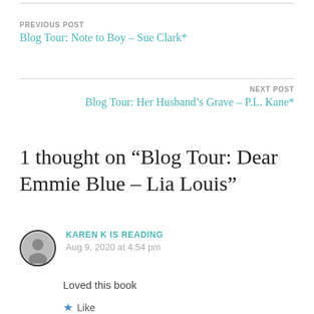PREVIOUS POST
Blog Tour: Note to Boy – Sue Clark*
NEXT POST
Blog Tour: Her Husband's Grave – P.L. Kane*
1 thought on “Blog Tour: Dear Emmie Blue – Lia Louis”
KAREN K IS READING
Aug 9, 2020 at 4:54 pm
Loved this book
Like